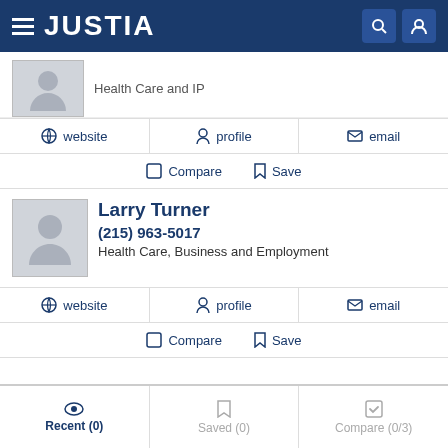JUSTIA
Health Care and IP
website | profile | email
Compare | Save
Larry Turner
(215) 963-5017
Health Care, Business and Employment
website | profile | email
Compare | Save
Recent (0) | Saved (0) | Compare (0/3)